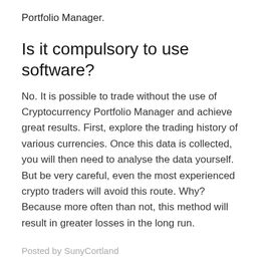Portfolio Manager.
Is it compulsory to use software?
No. It is possible to trade without the use of Cryptocurrency Portfolio Manager and achieve great results. First, explore the trading history of various currencies. Once this data is collected, you will then need to analyse the data yourself. But be very careful, even the most experienced crypto traders will avoid this route. Why? Because more often than not, this method will result in greater losses in the long run.
Posted by SunyCortland